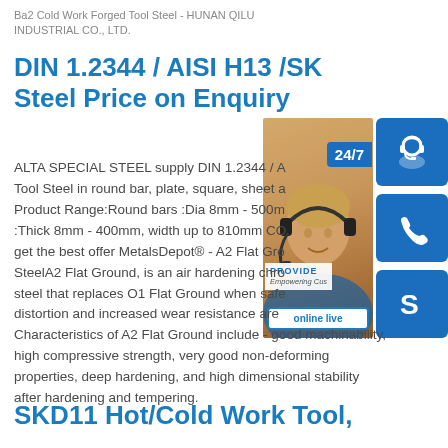Ba2 Cold Work Forged Tool Steel - HUNAN QILU INDUSTRIAL CO., LTD.
DIN 1.2344 / AISI H13 /SK Steel Price on Enquiry
[Figure (photo): Customer service representative with headset overlay panel including 24/7 icon buttons for chat, phone, and Skype, plus an online live button and PROVIDE Empowering Customers banner]
ALTA SPECIAL STEEL supply DIN 1.2344 / A Tool Steel in round bar, plate, square, sheet a Product Range:Round bars :Dia 8mm - 500m :Thick 8mm - 400mm, width up to 810mm CO get the best offer MetalsDepot® - A2 Flat Gro SteelA2 Flat Ground, is an air hardening chro steel that replaces O1 Flat Ground when safe distortion and increased wear resistance are Characteristics of A2 Flat Ground include - good machinability, high compressive strength, very good non-deforming properties, deep hardening, and high dimensional stability after hardening and tempering.
SKD11 Hot/Cold Work Tool,